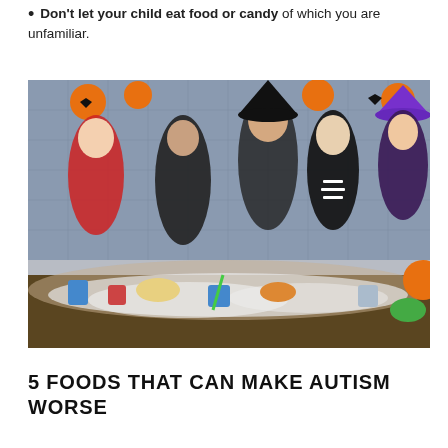Don't let your child eat food or candy of which you are unfamiliar.
[Figure (photo): A group of children in Halloween costumes — a vampire, a cat, a skeleton, and a witch — gathered around a table full of Halloween treats and food. An adult woman in a witch hat smiles behind them. Halloween decorations including jack-o'-lanterns are visible in the background.]
5 FOODS THAT CAN MAKE AUTISM WORSE